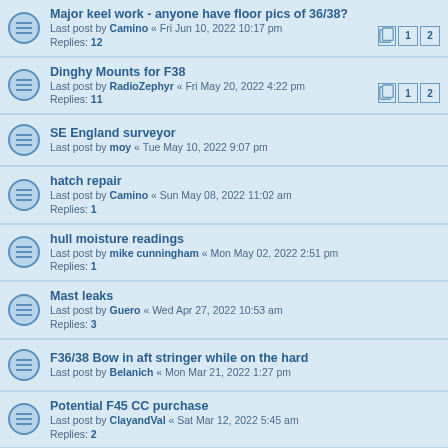Major keel work - anyone have floor pics of 36/38?
Last post by Camino « Fri Jun 10, 2022 10:17 pm
Replies: 12
Dinghy Mounts for F38
Last post by RadioZephyr « Fri May 20, 2022 4:22 pm
Replies: 11
SE England surveyor
Last post by moy « Tue May 10, 2022 9:07 pm
hatch repair
Last post by Camino « Sun May 08, 2022 11:02 am
Replies: 1
hull moisture readings
Last post by mike cunningham « Mon May 02, 2022 2:51 pm
Replies: 1
Mast leaks
Last post by Guero « Wed Apr 27, 2022 10:53 am
Replies: 3
F36/38 Bow in aft stringer while on the hard
Last post by Belanich « Mon Mar 21, 2022 1:27 pm
Potential F45 CC purchase
Last post by ClayandVal « Sat Mar 12, 2022 5:45 am
Replies: 2
Mast Gasket
Last post by gamayun « Wed Mar 09, 2022 1:24 pm
Replies: 4
Freedom 45 CC update